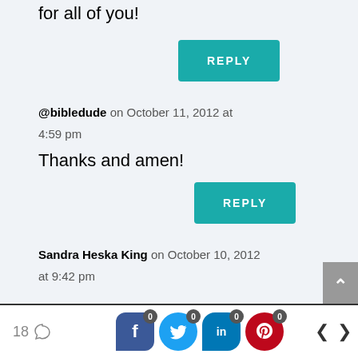for all of you!
REPLY
@bibledude on October 11, 2012 at 4:59 pm
Thanks and amen!
REPLY
Sandra Heska King on October 10, 2012 at 9:42 pm
18 | 0 f | 0 in | 0 p | < | >